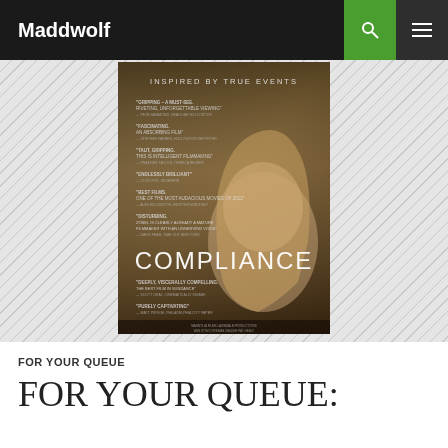Maddwolf
[Figure (photo): Movie poster for 'Compliance' (2012). Dark moody image of a young blonde woman looking up with text 'INSPIRED BY TRUE EVENTS' at top and multiple critic quotes. Film title 'COMPLIANCE' in large white letters across middle.]
FOR YOUR QUEUE
FOR YOUR QUEUE: